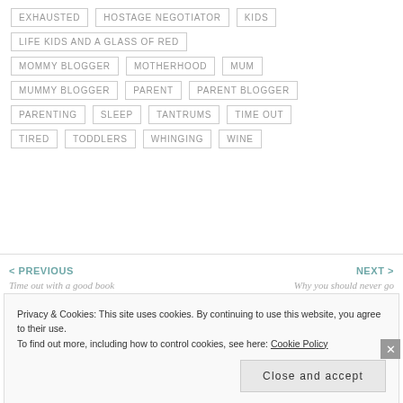EXHAUSTED
HOSTAGE NEGOTIATOR
KIDS
LIFE KIDS AND A GLASS OF RED
MOMMY BLOGGER
MOTHERHOOD
MUM
MUMMY BLOGGER
PARENT
PARENT BLOGGER
PARENTING
SLEEP
TANTRUMS
TIME OUT
TIRED
TODDLERS
WHINGING
WINE
< PREVIOUS
Time out with a good book
NEXT >
Why you should never go shopping without your kids
Privacy & Cookies: This site uses cookies. By continuing to use this website, you agree to their use.
To find out more, including how to control cookies, see here: Cookie Policy
Close and accept